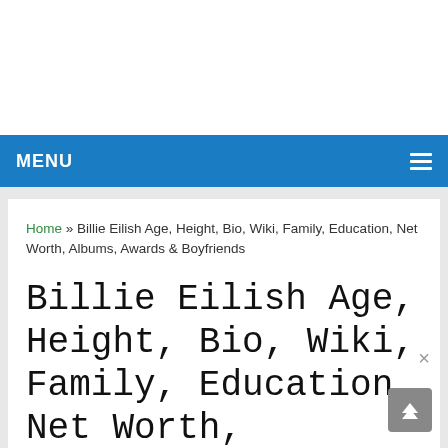MENU
Home » Billie Eilish Age, Height, Bio, Wiki, Family, Education, Net Worth, Albums, Awards & Boyfriends
Billie Eilish Age, Height, Bio, Wiki, Family, Education, Net Worth,